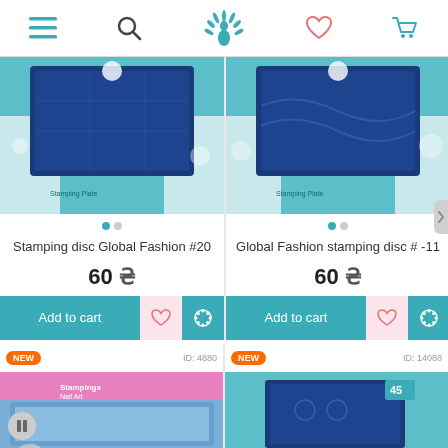[Figure (screenshot): E-commerce website navigation bar with hamburger menu, search icon, peacock logo (teal), heart/wishlist icon, and shopping cart icon]
[Figure (photo): Stamping disc product image - Global Fashion #20, blue metallic stamping plate in teal packaging]
Stamping disc Global Fashion #20
60 ₴
[Figure (photo): Global Fashion stamping disc #-11, blue metallic stamping plate in teal packaging]
Global Fashion stamping disc # -11
60 ₴
[Figure (photo): NEW product - Stampings Nail Art product, ID: 4880, pink packaging with blue foil]
[Figure (photo): NEW product - ID: 14088, teal stamping disc packaging]